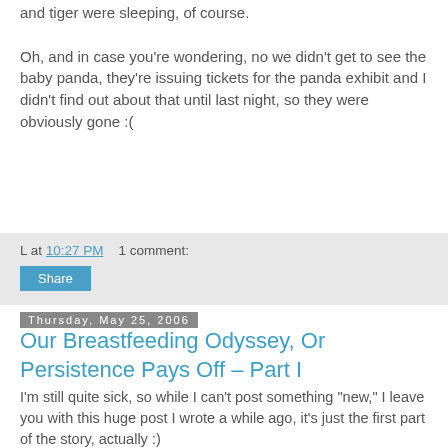and tiger were sleeping, of course.

Oh, and in case you're wondering, no we didn't get to see the baby panda, they're issuing tickets for the panda exhibit and I didn't find out about that until last night, so they were obviously gone :(
L at 10:27 PM    1 comment:
Share
Thursday, May 25, 2006
Our Breastfeeding Odyssey, Or Persistence Pays Off – Part I
I'm still quite sick, so while I can't post something "new," I leave you with this huge post I wrote a while ago, it's just the first part of the story, actually :)
--------
I knew I wanted to breastfeed my son, so I attended the breastfeeding class offered by the hospital, I read about it